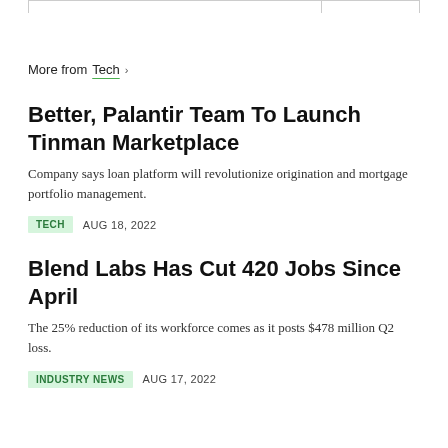More from Tech >
Better, Palantir Team To Launch Tinman Marketplace
Company says loan platform will revolutionize origination and mortgage portfolio management.
TECH  AUG 18, 2022
Blend Labs Has Cut 420 Jobs Since April
The 25% reduction of its workforce comes as it posts $478 million Q2 loss.
INDUSTRY NEWS  AUG 17, 2022